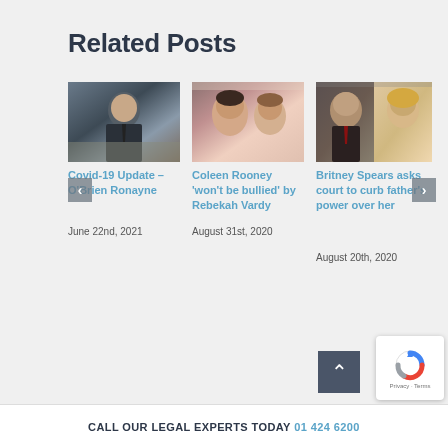Related Posts
[Figure (photo): Man in suit sitting at desk, office background]
Covid-19 Update – O'Brien Ronayne
June 22nd, 2021
[Figure (photo): Two women, close-up portrait]
Coleen Rooney 'won't be bullied' by Rebekah Vardy
August 31st, 2020
[Figure (photo): Man and woman, side-by-side portraits]
Britney Spears asks court to curb father's power over her
August 20th, 2020
CALL OUR LEGAL EXPERTS TODAY 01 424 6200